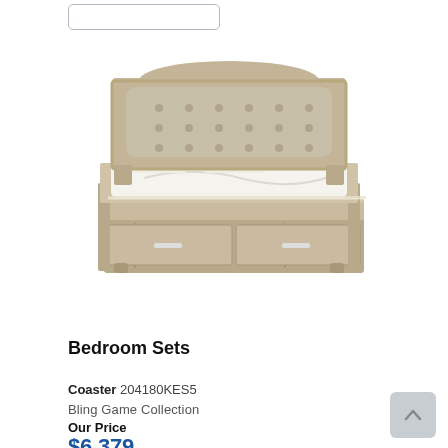[Figure (photo): King/twin bed with tufted upholstered headboard, silver/champagne finish wood frame with storage drawers at the footboard, white bedding, photographed in 3/4 angle on white background]
Bedroom Sets
Coaster 204180KES5
Bling Game Collection
Our Price
$6,379